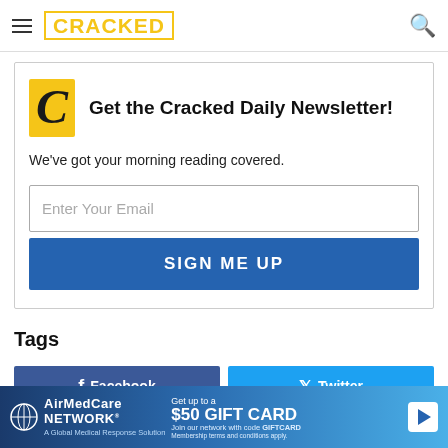CRACKED
Get the Cracked Daily Newsletter!
We've got your morning reading covered.
Enter Your Email
SIGN ME UP
Tags
Facebook
Twitter
[Figure (other): AirMedCare Network advertisement banner: Get up to a $50 GIFT CARD, Join our network with code GIFTCARD. Membership terms and conditions apply.]